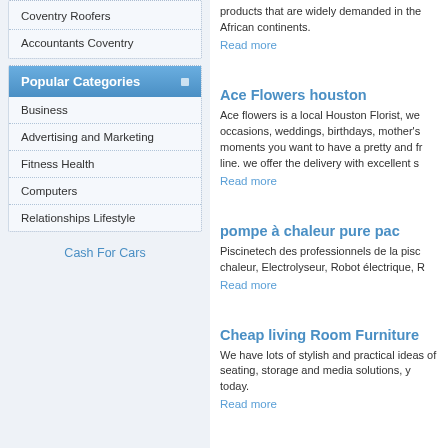Coventry Roofers
Accountants Coventry
Popular Categories
Business
Advertising and Marketing
Fitness Health
Computers
Relationships Lifestyle
Cash For Cars
Ace Flowers houston
Ace flowers is a local Houston Florist, we occasions, weddings, birthdays, mother's moments you want to have a pretty and f line. we offer the delivery with excellent s
Read more
pompe à chaleur pure pac
Piscinetech des professionnels de la pis chaleur, Electrolyseur, Robot électrique, R
Read more
Cheap living Room Furniture
We have lots of stylish and practical ideas of seating, storage and media solutions, y today.
Read more
Online diamond rings india